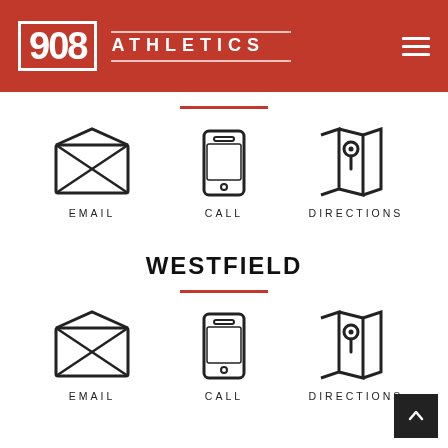908 ATHLETICS
[Figure (infographic): Three icons in a row: email envelope, phone/call mobile phone, directions map pin. Labels: EMAIL, CALL, DIRECTIONS]
WESTFIELD
[Figure (infographic): Three icons in a row: email envelope, phone/call mobile phone, directions map pin. Labels: EMAIL, CALL, DIRECTIONS]